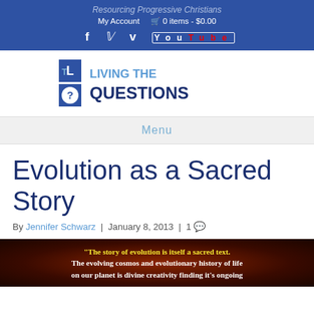Resourcing Progressive Christians
My Account | 0 items - $0.00
f t v [youtube]
[Figure (logo): Living the Questions logo — LTQ monogram with question mark, followed by LIVING THE QUESTIONS in dark blue bold text]
Menu
Evolution as a Sacred Story
By Jennifer Schwarz | January 8, 2013 | 1 [comment]
[Figure (photo): Dark cosmic/space background image with bold text: '"The story of evolution is itself a sacred text. The evolving cosmos and evolutionary history of life on our planet is divine creativity finding it's ongoing [expression]']